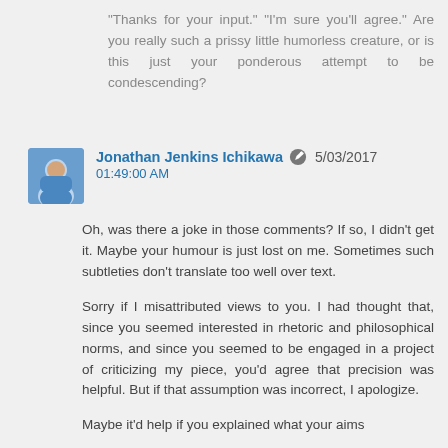"Thanks for your input." "I'm sure you'll agree." Are you really such a prissy little humorless creature, or is this just your ponderous attempt to be condescending?
Jonathan Jenkins Ichikawa  5/03/2017 01:49:00 AM
Oh, was there a joke in those comments? If so, I didn't get it. Maybe your humour is just lost on me. Sometimes such subtleties don't translate too well over text.
Sorry if I misattributed views to you. I had thought that, since you seemed interested in rhetoric and philosophical norms, and since you seemed to be engaged in a project of criticizing my piece, you'd agree that precision was helpful. But if that assumption was incorrect, I apologize.
Maybe it'd help if you explained what your aims